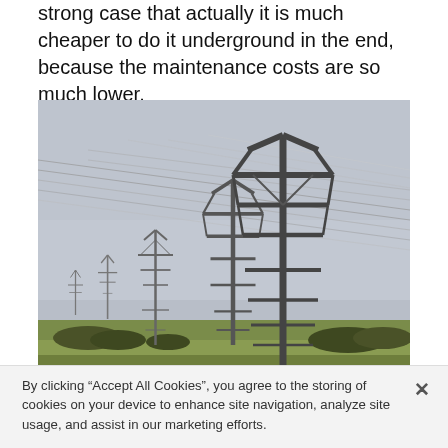strong case that actually it is much cheaper to do it underground in the end, because the maintenance costs are so much lower.
[Figure (photo): Photograph of multiple electricity transmission pylons with power lines in a flat rural landscape under an overcast grey sky, at Wormegay in west Norfolk.]
A power line at Wormegay in west Norfolk. The National Grid has argued a new overhead power line is needed to help the
By clicking “Accept All Cookies”, you agree to the storing of cookies on your device to enhance site navigation, analyze site usage, and assist in our marketing efforts.